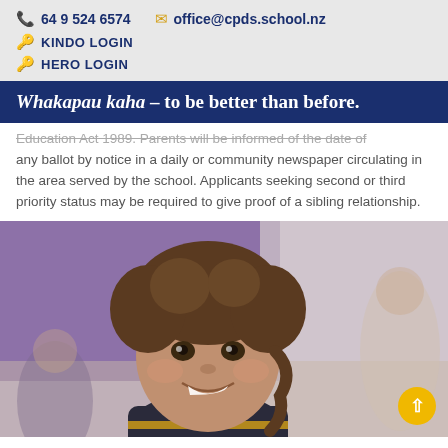64 9 524 6574   office@cpds.school.nz   KINDO LOGIN   HERO LOGIN
Whakapau kaha – to be better than before.
Education Act 1989. Parents will be informed of the date of any ballot by notice in a daily or community newspaper circulating in the area served by the school. Applicants seeking second or third priority status may be required to give proof of a sibling relationship.
[Figure (photo): A smiling young school-age child with curly hair, wearing a school uniform, photographed indoors with a blurred purple background and other children visible out of focus.]